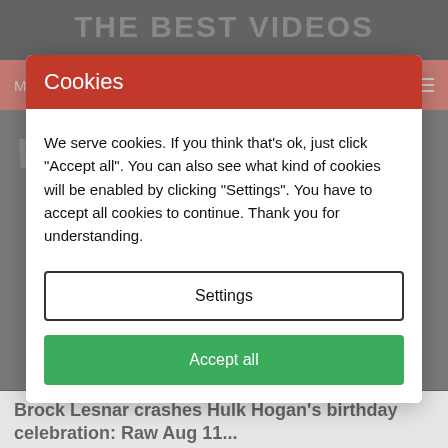THE BEST VIDEOS
Cookies
We serve cookies. If you think that's ok, just click "Accept all". You can also see what kind of cookies will be enabled by clicking "Settings". You have to accept all cookies to continue. Thank you for understanding.
Settings
Accept all
Brock Lesnar crashes Hulk Hogan's birthday celebration: Raw Aug 11...